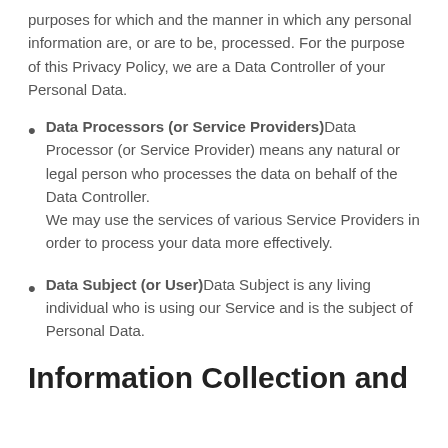purposes for which and the manner in which any personal information are, or are to be, processed. For the purpose of this Privacy Policy, we are a Data Controller of your Personal Data.
Data Processors (or Service Providers)Data Processor (or Service Provider) means any natural or legal person who processes the data on behalf of the Data Controller. We may use the services of various Service Providers in order to process your data more effectively.
Data Subject (or User)Data Subject is any living individual who is using our Service and is the subject of Personal Data.
Information Collection and